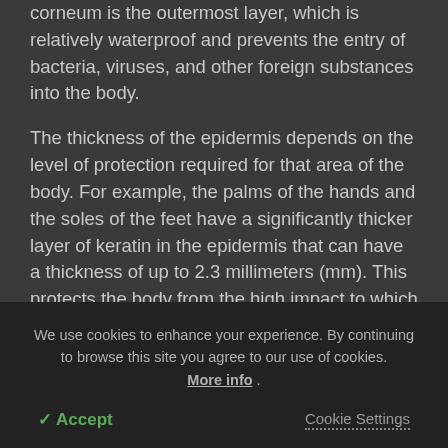corneum is the outermost layer, which is relatively waterproof and prevents the entry of bacteria, viruses, and other foreign substances into the body.
The thickness of the epidermis depends on the level of protection required for that area of the body. For example, the palms of the hands and the soles of the feet have a significantly thicker layer of keratin in the epidermis that can have a thickness of up to 2.3 millimeters (mm). This protects the body from the high impact to which these areas of the body are subject. In contrast, the thickness of the epidermis on the eyelids
We use cookies to enhance your experience. By continuing to browse this site you agree to our use of cookies. More info .
✓ Accept
Cookie Settings